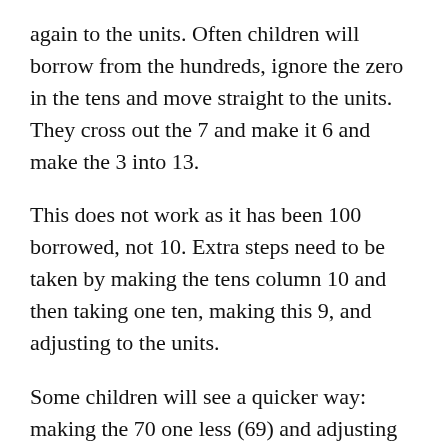again to the units. Often children will borrow from the hundreds, ignore the zero in the tens and move straight to the units. They cross out the 7 and make it 6 and make the 3 into 13.
This does not work as it has been 100 borrowed, not 10. Extra steps need to be taken by making the tens column 10 and then taking one ten, making this 9, and adjusting to the units.
Some children will see a quicker way: making the 70 one less (69) and adjusting to the units.
More explanation is available on the worksheet.